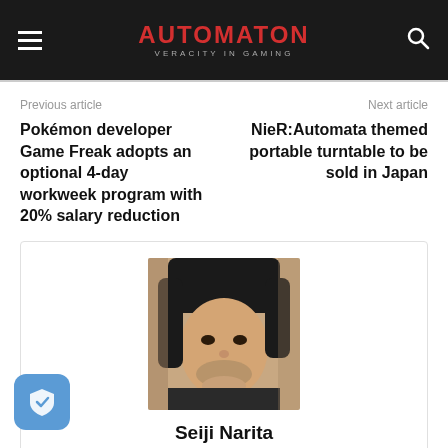AUTOMATON — VERACITY IN GAMING
Previous article
Next article
Pokémon developer Game Freak adopts an optional 4-day workweek program with 20% salary reduction
NieR:Automata themed portable turntable to be sold in Japan
[Figure (photo): Author photo of Seiji Narita, a person with long dark hair looking upward]
Seiji Narita
JP AUTOMATON writer